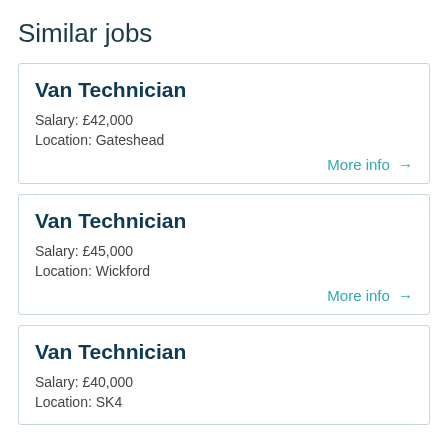Similar jobs
Van Technician
Salary: £42,000
Location: Gateshead
More info →
Van Technician
Salary: £45,000
Location: Wickford
More info →
Van Technician
Salary: £40,000
Location: SK4